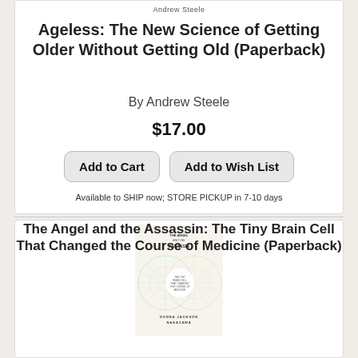Andrew Steele
Ageless: The New Science of Getting Older Without Getting Old (Paperback)
By Andrew Steele
$17.00
Add to Cart
Add to Wish List
Available to SHIP now; STORE PICKUP in 7-10 days
[Figure (illustration): Book cover of The Angel and the Assassin by Donna Jackson Nakazawa, showing colorful starburst pattern in blue and gold]
The Angel and the Assassin: The Tiny Brain Cell That Changed the Course of Medicine (Paperback)